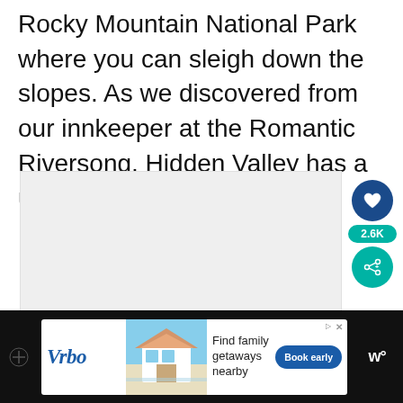Rocky Mountain National Park where you can sleigh down the slopes. As we discovered from our innkeeper at the Romantic Riversong, Hidden Valley has a unique history.
[Figure (photo): Large image placeholder area with light gray background, partially visible]
[Figure (other): UI overlay widgets: heart/like button (dark blue circle), 2.6K count label (teal), share button (teal circle with share icon), and a 'What's Next' preview card showing '23 Best Things to do...' with a building thumbnail]
[Figure (screenshot): Bottom advertisement bar: Vrbo logo, beach house image, 'Find family getaways nearby' text, 'Book early' blue button. Dark navigation bar on left and right sides.]